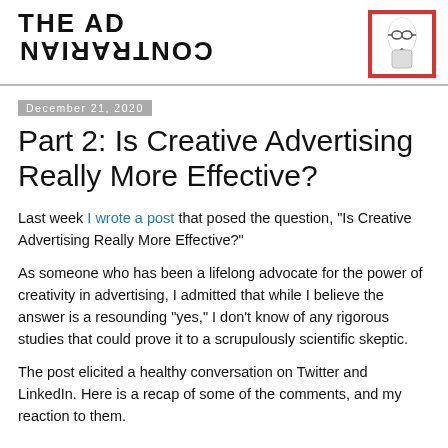THE AD CONTRARIAN
[Figure (logo): Logo image with a figure on red/white background]
December 21, 2020
Part 2: Is Creative Advertising Really More Effective?
Last week I wrote a post that posed the question, "Is Creative Advertising Really More Effective?"
As someone who has been a lifelong advocate for the power of creativity in advertising, I admitted that while I believe the answer is a resounding "yes," I don't know of any rigorous studies that could prove it to a scrupulously scientific skeptic.
The post elicited a healthy conversation on Twitter and LinkedIn. Here is a recap of some of the comments, and my reaction to them.